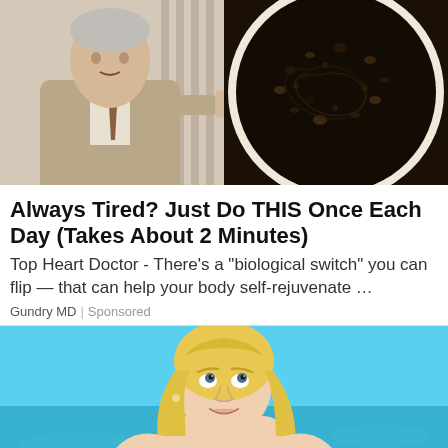[Figure (photo): Split image: left side shows an older man in a beige suit pointing finger, right side shows a dark bowl of food/supplement]
Always Tired? Just Do THIS Once Each Day (Takes About 2 Minutes)
Top Heart Doctor - There’s a “biological switch” you can flip — that can help your body self-rejuvenate …
Gundry MD | Sponsored
[Figure (photo): Blonde woman against turquoise background, looking upward]